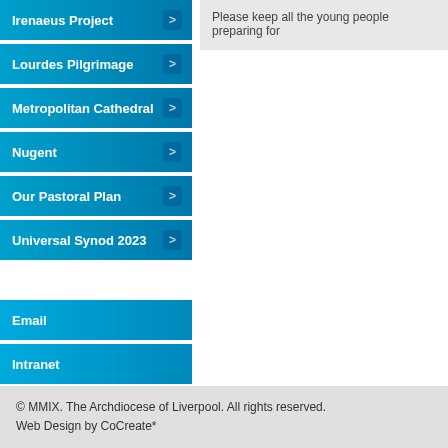Irenaeus Project
Lourdes Pilgrimage
Metropolitan Cathedral
Nugent
Our Pastoral Plan
Universal Synod 2023
Email
Intranet
Remote Support
Please keep all the young people preparing for
© MMIX. The Archdiocese of Liverpool. All rights reserved.
Web Design by CoCreate*